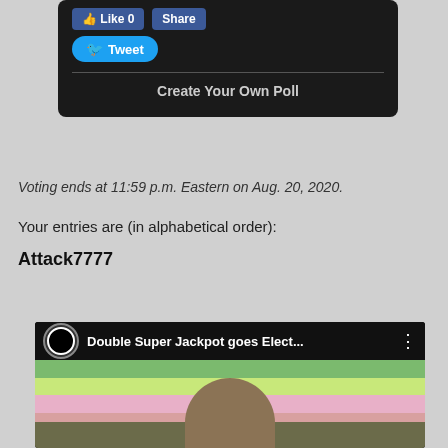[Figure (screenshot): Dark poll widget with Facebook Like (0) and Share buttons, and a Twitter Tweet button, followed by a divider and 'Create Your Own Poll' link]
Voting ends at 11:59 p.m. Eastern on Aug. 20, 2020.
Your entries are (in alphabetical order):
Attack7777
[Figure (screenshot): YouTube-style video thumbnail showing 'Double Super Jackpot goes Elect...' with a channel logo and a person looking up with colorful stuffed animals in background]